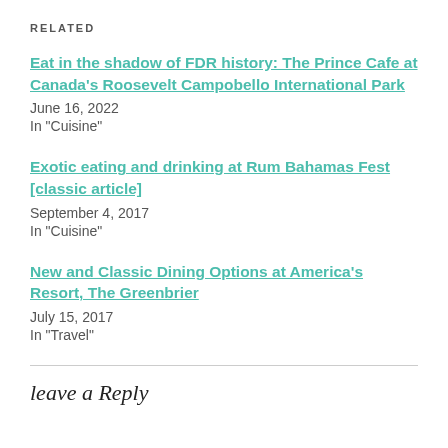RELATED
Eat in the shadow of FDR history: The Prince Cafe at Canada's Roosevelt Campobello International Park
June 16, 2022
In "Cuisine"
Exotic eating and drinking at Rum Bahamas Fest [classic article]
September 4, 2017
In "Cuisine"
New and Classic Dining Options at America's Resort, The Greenbrier
July 15, 2017
In "Travel"
leave a Reply